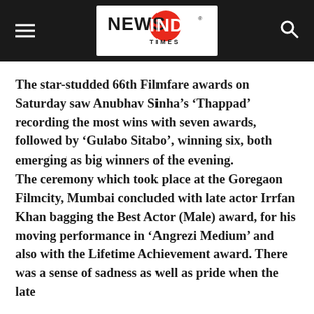NEWS INDIA Times
The star-studded 66th Filmfare awards on Saturday saw Anubhav Sinha’s ‘Thappad’ recording the most wins with seven awards, followed by ‘Gulabo Sitabo’, winning six, both emerging as big winners of the evening. The ceremony which took place at the Goregaon Filmcity, Mumbai concluded with late actor Irrfan Khan bagging the Best Actor (Male) award, for his moving performance in ‘Angrezi Medium’ and also with the Lifetime Achievement award. There was a sense of sadness as well as pride when the late